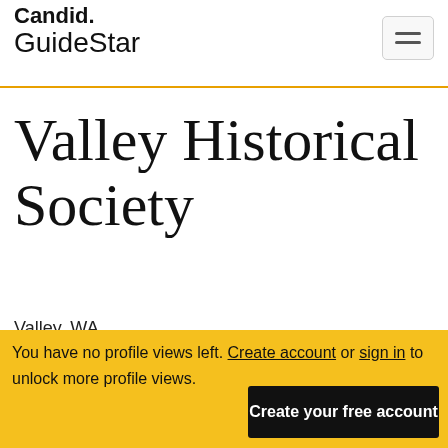Candid. GuideStar
Valley Historical Society
Valley, WA
You have no profile views left. Create account or sign in to unlock more profile views.
Create your free account